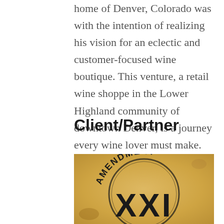home of Denver, Colorado was with the intention of realizing his vision for an eclectic and customer-focused wine boutique. This venture, a retail wine shoppe in the Lower Highland community of downtown Denver, is a journey every wine lover must make.
Client/Partner
[Figure (logo): Logo for Amendment XXI wine boutique — stamp style text on aged parchment/tan background with 'AMENDMENT' arched at top and 'XXI' in large letters below]